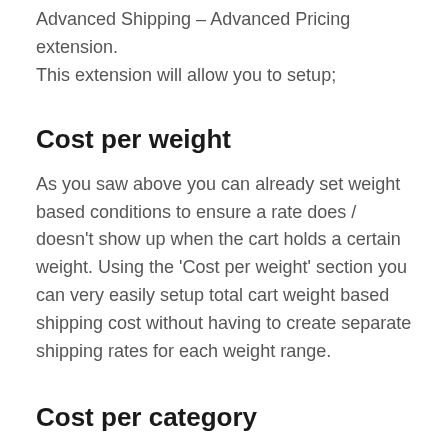Advanced Shipping – Advanced Pricing extension. This extension will allow you to setup;
Cost per weight
As you saw above you can already set weight based conditions to ensure a rate does / doesn't show up when the cart holds a certain weight. Using the 'Cost per weight' section you can very easily setup total cart weight based shipping cost without having to create separate shipping rates for each weight range.
Cost per category
Based on the contents of the cart, you can setup